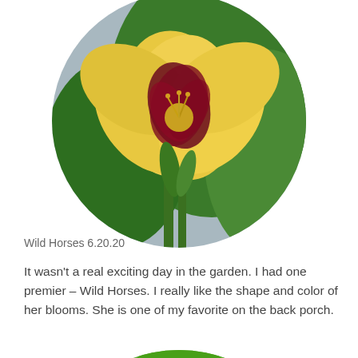[Figure (photo): Circular cropped photo of a yellow daylily with dark maroon center markings, surrounded by green foliage]
Wild Horses 6.20.20
It wasn't a real exciting day in the garden. I had one premier – Wild Horses. I really like the shape and color of her blooms. She is one of my favorite on the back porch.
[Figure (photo): Circular cropped photo of a large red daylily with orange stamens and green foliage in the background, partially visible at bottom of page]